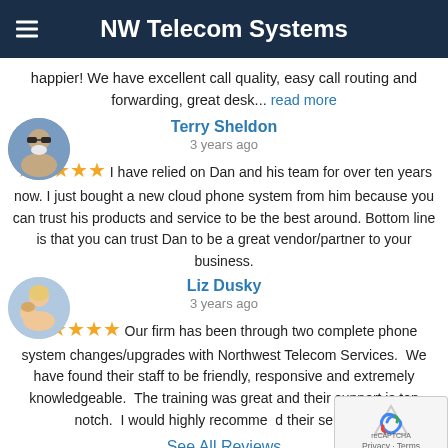NW Telecom Systems
happier! We have excellent call quality, easy call routing and forwarding, great desk... read more
Terry Sheldon
3 years ago
★★★★★ I have relied on Dan and his team for over ten years now. I just bought a new cloud phone system from him because you can trust his products and service to be the best around. Bottom line is that you can trust Dan to be a great vendor/partner to your business.
Liz Dusky
3 years ago
★★★★★ Our firm has been through two complete phone system changes/upgrades with Northwest Telecom Services.  We have found their staff to be friendly, responsive and extremely knowledgeable.  The training was great and their support is top notch.  I would highly recommend their services.
See All Reviews